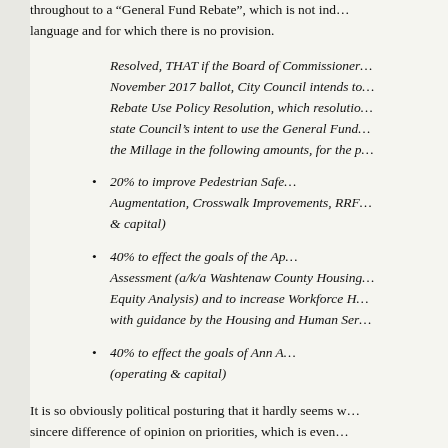throughout to a “General Fund Rebate”, which is not ind... language and for which there is no provision.
Resolved, THAT if the Board of Commissioner... November 2017 ballot, City Council intends to... Rebate Use Policy Resolution, which resolutio... state Council’s intent to use the General Fund... the Millage in the following amounts, for the p...
20% to improve Pedestrian Safe... Augmentation, Crosswalk Improvements, RRF... & capital)
40% to effect the goals of the Ap... Assessment (a/k/a Washtenaw County Housing... Equity Analysis) and to increase Workforce H... with guidance by the Housing and Human Ser...
40% to effect the goals of Ann A... (operating & capital)
It is so obviously political posturing that it hardly seems w... sincere difference of opinion on priorities, which is even...
ADDENDUM: In terms of priorities, the following excer...